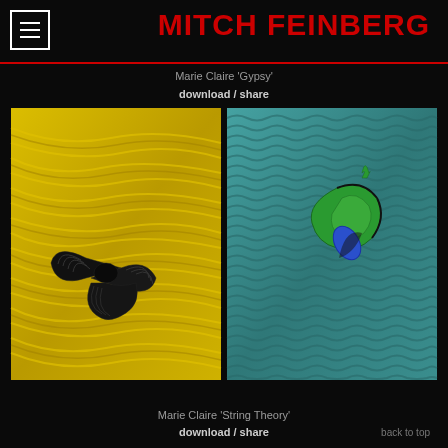MITCH FEINBERG
Marie Claire 'Gypsy'
download / share
[Figure (photo): Two side-by-side photographs. Left: a black sculptural bow-tie piece on bright yellow fiber/yarn strands. Right: a green and blue abstract ornamental object on teal textured fabric background.]
Marie Claire 'String Theory'
download / share
back to top